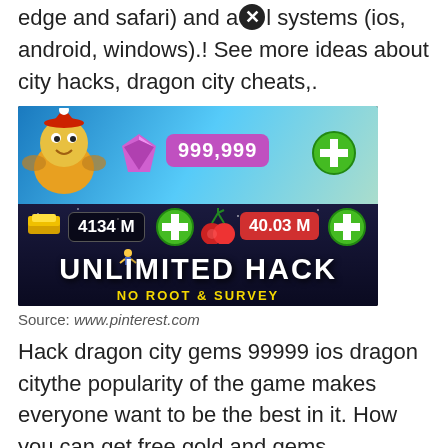edge and safari) and all systems (ios, android, windows).! See more ideas about city hacks, dragon city cheats,.
[Figure (screenshot): Game screenshot showing Dragon City hack tool with 999,999 gems, 4134M gold, 40.03M food, and text 'UNLIMITED HACK NO ROOT & SURVEY']
Source: www.pinterest.com
Hack dragon city gems 99999 ios dragon citythe popularity of the game makes everyone want to be the best in it. How you can get free gold and gems ios/android dragon city hack and cheats dragon city hack 2021 updated dragon